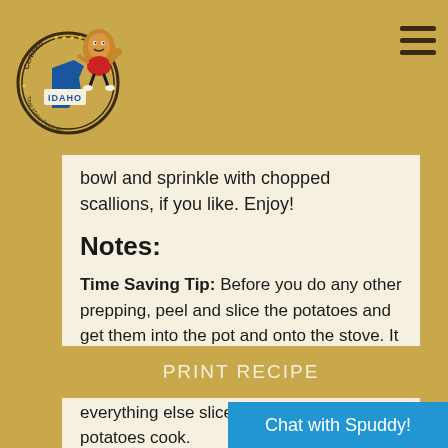[Figure (logo): Certified Idaho Potatoes logo with mascot character giving thumbs up]
bowl and sprinkle with chopped scallions, if you like. Enjoy!
Notes:
Time Saving Tip: Before you do any other prepping, peel and slice the potatoes and get them into the pot and onto the stove. It will take a while for that pot to get boiling so you should have plenty of time to get everything else sliced and diced while the potatoes cook.
PRINT RECIPE
Chat with Spuddy!